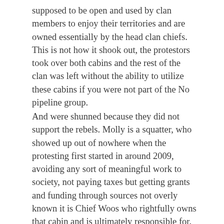supposed to be open and used by clan members to enjoy their territories and are owned essentially by the head clan chiefs. This is not how it shook out, the protestors took over both cabins and the rest of the clan was left without the ability to utilize these cabins if you were not part of the No pipeline group.
And were shunned because they did not support the rebels. Molly is a squatter, who showed up out of nowhere when the protesting first started in around 2009, avoiding any sort of meaningful work to society, not paying taxes but getting grants and funding through sources not overly known it is Chief Woos who rightfully owns that cabin and is ultimately responsible for. The Houston people who have never left are the true Unistoten and never left Houston they are still here, never moved to Moricetown (Witset), and were non status natives until the Indian act changed in 1985.
These fine people are quiet when it comes to the pipeline debate as they live in Houston, and just want for once to get something to help their people, they neither condone or condemn either